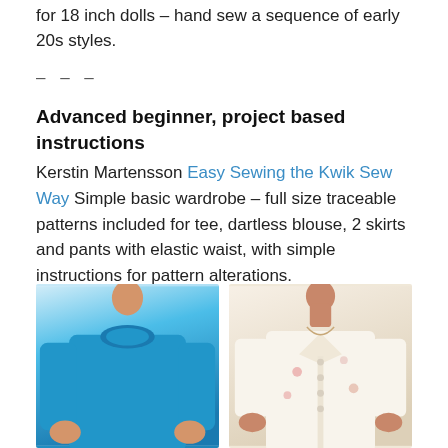for 18 inch dolls – hand sew a sequence of early 20s styles.
– – –
Advanced beginner, project based instructions
Kerstin Martensson Easy Sewing the Kwik Sew Way Simple basic wardrobe – full size traceable patterns included for tee, dartless blouse, 2 skirts and pants with elastic waist, with simple instructions for pattern alterations.
[Figure (photo): Photo of a person wearing a blue long-sleeve sweater top, cropped at torso level.]
[Figure (photo): Photo of a person wearing a white floral button-up blouse, cropped at torso level.]